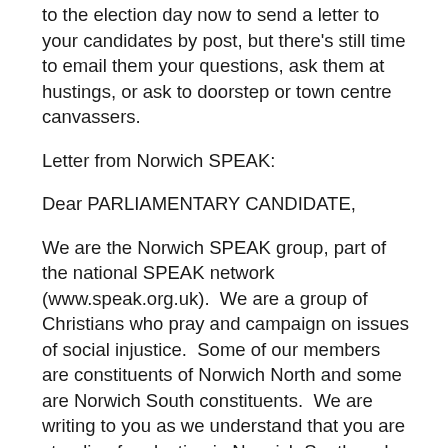to the election day now to send a letter to your candidates by post, but there's still time to email them your questions, ask them at hustings, or ask to doorstep or town centre canvassers.
Letter from Norwich SPEAK:
Dear PARLIAMENTARY CANDIDATE,
We are the Norwich SPEAK group, part of the national SPEAK network (www.speak.org.uk).  We are a group of Christians who pray and campaign on issues of social injustice.  Some of our members are constituents of Norwich North and some are Norwich South constituents.  We are writing to you as we understand that you are standing for election in Norwich South and as your potential constituents we would like to raise some of our concerns regarding injustices in our world.
Tax avoidance
We believe that multi-national companies should pay tax in